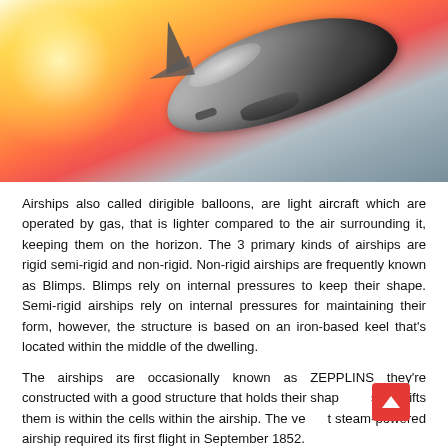[Figure (photo): A large modern airship (dirigible) photographed against a dramatic sunset sky with orange, red and blue hues. The airship has a sleek metallic silver body with fins, seen from below-front angle.]
Airships also called dirigible balloons, are light aircraft which are operated by gas, that is lighter compared to the air surrounding it, keeping them on the horizon. The 3 primary kinds of airships are rigid semi-rigid and non-rigid. Non-rigid airships are frequently known as Blimps. Blimps rely on internal pressures to keep their shape. Semi-rigid airships rely on internal pressures for maintaining their form, however, the structure is based on an iron-based keel that's located within the middle of the dwelling.
The airships are occasionally known as ZEPPLINS they're constructed with a good structure that holds their shape, gas lifts them is within the cells within the airship. The very first steam-powered airship required its first flight in September 1852.